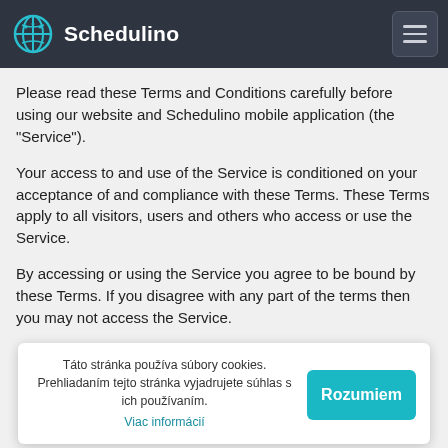Schedulino
Please read these Terms and Conditions carefully before using our website and Schedulino mobile application (the "Service").
Your access to and use of the Service is conditioned on your acceptance of and compliance with these Terms. These Terms apply to all visitors, users and others who access or use the Service.
By accessing or using the Service you agree to be bound by these Terms. If you disagree with any part of the terms then you may not access the Service.
Táto stránka používa súbory cookies. Prehliadaním tejto stránka vyjadrujete súhlas s ich používaním. Viac informácií
Some parts of the Service are billed on a subscription basis ("Subscription(s)"). You will be